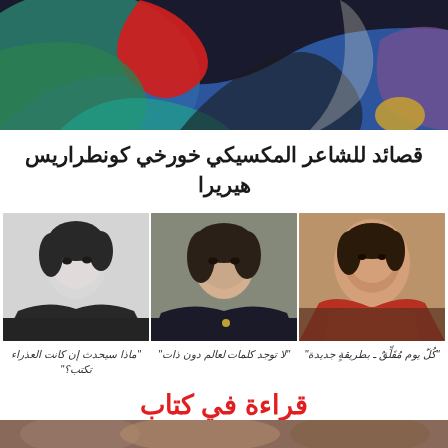[Figure (illustration): Colorful abstract painting with flowing shapes in red, blue, green, black — a figure partially visible on right side with yellow and purple tones]
قصائد للشاعر المكسيكي خورخي كونطراريس هيريرا
[Figure (photo): Three portrait photos of women side by side: left — woman with dark hair and red shawl (color photo); center — woman with shoulder-length hair in dark jacket (color photo); right — woman in black and white portrait photo]
"كُلّ يوم مُفَلِّقٌ ـ بطريقةٍ جديدة"
"لا توجد كلمات لعالم دون ذات"
"ماذا سيحدث إن كانت العذراء تكتب؟"
قراءة في كتاب
[Figure (photo): Partial bottom strip image — appears to be another photo partially visible at bottom of page]